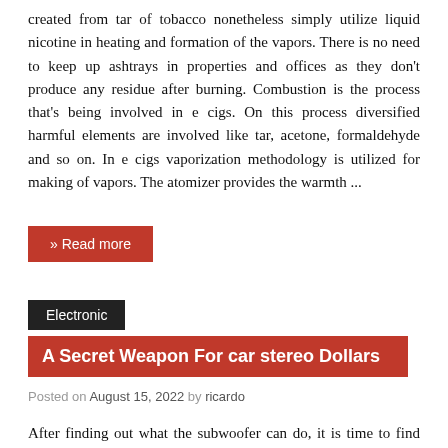created from tar of tobacco nonetheless simply utilize liquid nicotine in heating and formation of the vapors. There is no need to keep up ashtrays in properties and offices as they don't produce any residue after burning. Combustion is the process that's being involved in e cigs. On this process diversified harmful elements are involved like tar, acetone, formaldehyde and so on. In e cigs vaporization methodology is utilized for making of vapors. The atomizer provides the warmth ...
» Read more
Electronic
A Secret Weapon For car stereo Dollars
Posted on August 15, 2022 by ricardo
After finding out what the subwoofer can do, it is time to find the correct subwoofer for a vehicle. Every particular